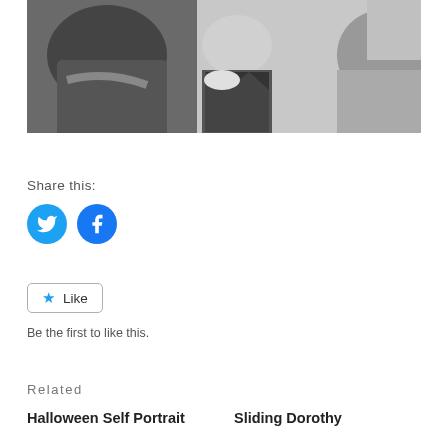[Figure (photo): Black and white overhead photo of three people, including a young girl in a patterned top looking up at the camera]
Share this:
[Figure (infographic): Twitter and Facebook social sharing circular icon buttons in blue]
[Figure (infographic): Like button with star icon and text 'Like']
Be the first to like this.
Related
Halloween Self Portrait
Sliding Dorothy